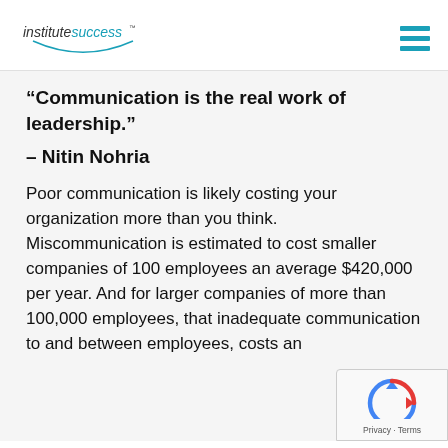institutesuccess™
“Communication is the real work of leadership.”
– Nitin Nohria
Poor communication is likely costing your organization more than you think. Miscommunication is estimated to cost smaller companies of 100 employees an average $420,000 per year. And for larger companies of more than 100,000 employees, that inadequate communication to and between employees, costs an